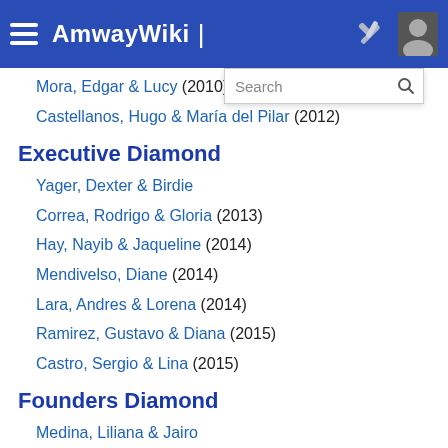AmwayWiki
Mora, Edgar & Lucy (2010)
Castellanos, Hugo & María del Pilar (2012)
Executive Diamond
Yager, Dexter & Birdie
Correa, Rodrigo & Gloria (2013)
Hay, Nayib & Jaqueline (2014)
Mendivelso, Diane (2014)
Lara, Andres & Lorena (2014)
Ramirez, Gustavo & Diana (2015)
Castro, Sergio & Lina (2015)
Founders Diamond
Medina, Liliana & Jairo
Torres, Alberto & Conchita
Illera, Alejandro & Maribel
Palacio, Catalina & Fernando (2013)